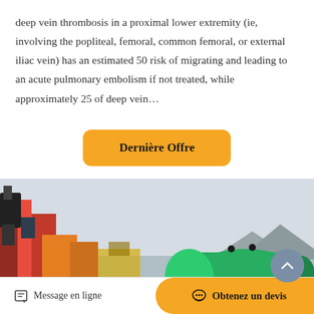deep vein thrombosis in a proximal lower extremity (ie, involving the popliteal, femoral, common femoral, or external iliac vein) has an estimated 50 risk of migrating and leading to an acute pulmonary embolism if not treated, while approximately 25 of deep vein…
[Figure (other): Orange button with bold text 'Dernière Offre']
[Figure (photo): Industrial machinery and equipment photograph, showing large orange and green mechanical components on what appears to be a ship or industrial platform, with a hazy coastal background.]
Message en ligne
Obtenez un devis